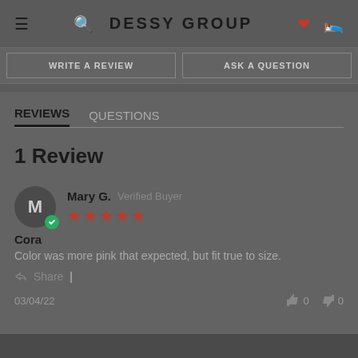DESSY GROUP
WRITE A REVIEW | ASK A QUESTION
REVIEWS
QUESTIONS
1 Review
Mary G. Verified Buyer — ★★★★★
Cora
Color was more pink that expected, but fit true to size.
Share |
03/04/22    👍 0   👎 0